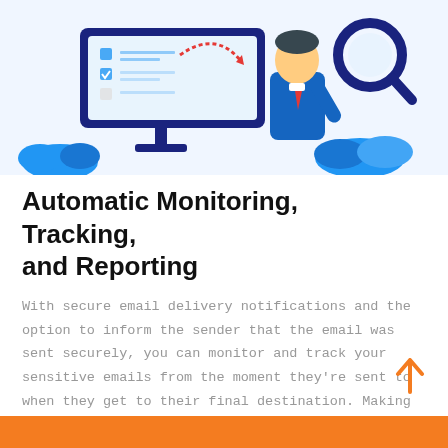[Figure (illustration): Flat vector illustration of a person in a suit holding a magnifying glass over a computer monitor displaying a checklist/document, with blue cloud shapes in the background. Analytics/monitoring themed graphic with orange and blue color scheme.]
Automatic Monitoring, Tracking, and Reporting
With secure email delivery notifications and the option to inform the sender that the email was sent securely, you can monitor and track your sensitive emails from the moment they're sent to when they get to their final destination. Making it so you never have to question again the security of your sensitive communications.